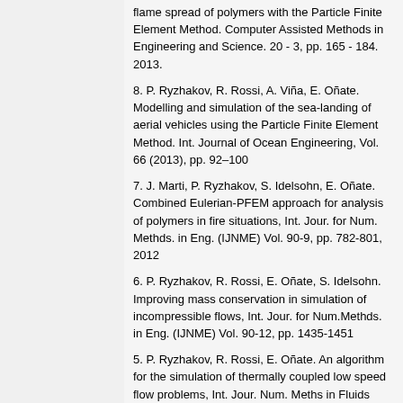flame spread of polymers with the Particle Finite Element Method. Computer Assisted Methods in Engineering and Science. 20 - 3, pp. 165 - 184. 2013.
8. P. Ryzhakov, R. Rossi, A. Viña, E. Oñate. Modelling and simulation of the sea-landing of aerial vehicles using the Particle Finite Element Method. Int. Journal of Ocean Engineering, Vol. 66 (2013), pp. 92–100
7. J. Marti, P. Ryzhakov, S. Idelsohn, E. Oñate. Combined Eulerian-PFEM approach for analysis of polymers in fire situations, Int. Jour. for Num. Methds. in Eng. (IJNME) Vol. 90-9, pp. 782-801, 2012
6. P. Ryzhakov, R. Rossi, E. Oñate, S. Idelsohn. Improving mass conservation in simulation of incompressible flows, Int. Jour. for Num.Methds. in Eng. (IJNME) Vol. 90-12, pp. 1435-1451
5. P. Ryzhakov, R. Rossi, E. Oñate. An algorithm for the simulation of thermally coupled low speed flow problems, Int. Jour. Num. Meths in Fluids (IJNMF) Vol. 70 1, pp. 1...